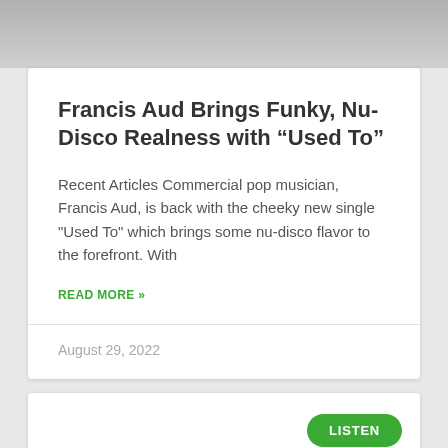[Figure (photo): Gray gradient image area at the top of the page]
Francis Aud Brings Funky, Nu-Disco Realness with “Used To”
Recent Articles Commercial pop musician, Francis Aud, is back with the cheeky new single "Used To" which brings some nu-disco flavor to the forefront. With
READ MORE »
August 29, 2022
LISTEN